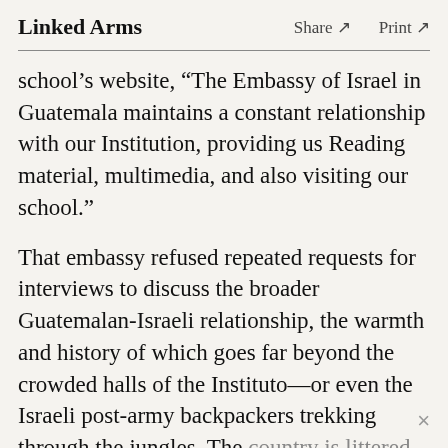Linked Arms   Share ↗   Print ↗
school's website, “The Embassy of Israel in Guatemala maintains a constant relationship with our Institution, providing us Reading material, multimedia, and also visiting our school.”
That embassy refused repeated requests for interviews to discuss the broader Guatemalan-Israeli relationship, the warmth and history of which goes far beyond the crowded halls of the Instituto—or even the Israeli post-army backpackers trekking through the jungles. The country is littered with gas stations and convenience stores named “Adonai,” and